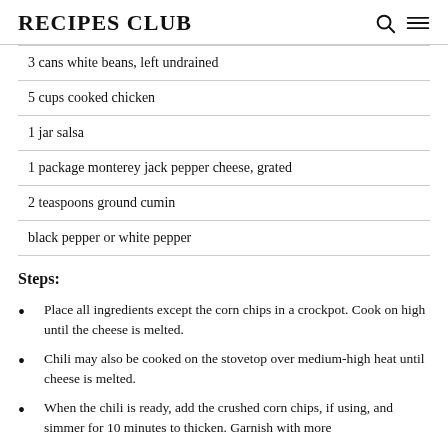RECIPES CLUB
| 3 cans white beans, left undrained |
| 5 cups cooked chicken |
| 1 jar salsa |
| 1 package monterey jack pepper cheese, grated |
| 2 teaspoons ground cumin |
| black pepper or white pepper |
Steps:
Place all ingredients except the corn chips in a crockpot. Cook on high until the cheese is melted.
Chili may also be cooked on the stovetop over medium-high heat until cheese is melted.
When the chili is ready, add the crushed corn chips, if using, and simmer for 10 minutes to thicken. Garnish with more